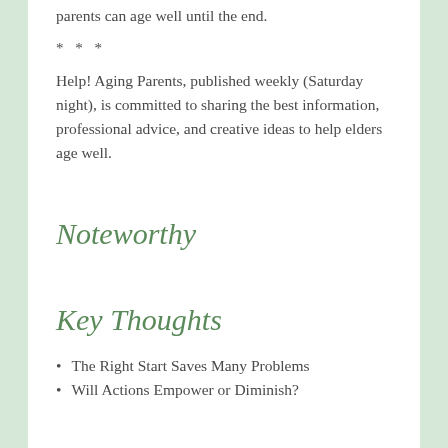parents can age well until the end.
* * *
Help! Aging Parents, published weekly (Saturday night), is committed to sharing the best information, professional advice, and creative ideas to help elders age well.
Noteworthy
Key Thoughts
The Right Start Saves Many Problems
Will Actions Empower or Diminish?